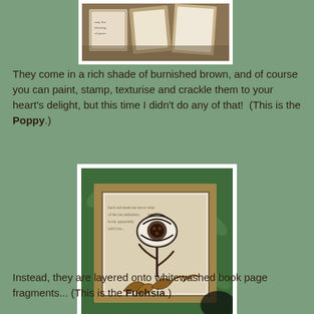[Figure (photo): Top partial photo of craft items with stamps on a green background]
They come in a rich shade of burnished brown, and of course you can paint, stamp, texturise and crackle them to your heart's delight, but this time I didn't do any of that!  (This is the Poppy.)
[Figure (photo): A craft book or tile with a laser-cut or die-cut poppy flower on whitewashed book page fragments, set against green leaves background]
Instead, they are layered onto whitewashed book page fragments... (This is the Fuchsia.)